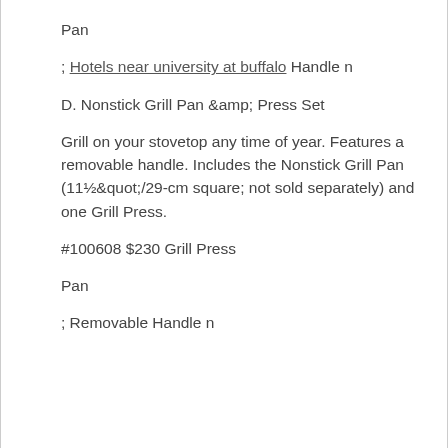Pan
; Hotels near university at buffalo Handle n
D. Nonstick Grill Pan &amp; Press Set
Grill on your stovetop any time of year. Features a removable handle. Includes the Nonstick Grill Pan (11½&quot;/29-cm square; not sold separately) and one Grill Press.
#100608 $230 Grill Press
Pan
; Removable Handle n